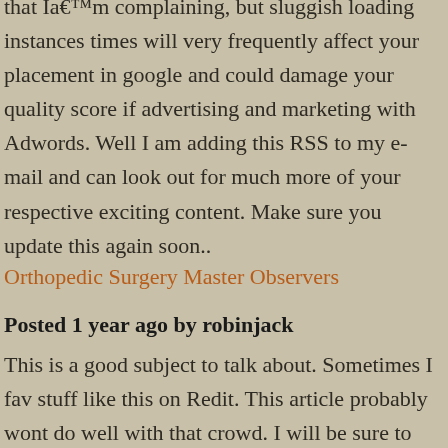that Iâ€™m complaining, but sluggish loading instances times will very frequently affect your placement in google and could damage your quality score if advertising and marketing with Adwords. Well I am adding this RSS to my e-mail and can look out for much more of your respective exciting content. Make sure you update this again soon..
Orthopedic Surgery Master Observers
Posted 1 year ago by robinjack
This is a good subject to talk about. Sometimes I fav stuff like this on Redit. This article probably wont do well with that crowd. I will be sure to submit something else though. home depot gutter guards